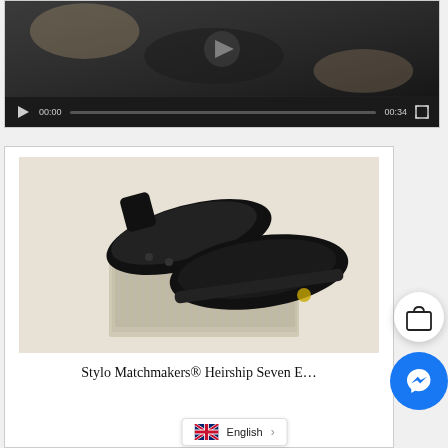[Figure (screenshot): Video player showing a shoe being held, with play button, progress bar showing 00:00 / 00:34, and fullscreen button on dark control bar]
[Figure (photo): Product photo of black Stylo Matchmakers Heirship Seven football boot and sneaker pair, displayed on a light textured base]
Stylo Matchmakers® Heirship Seven E...
English